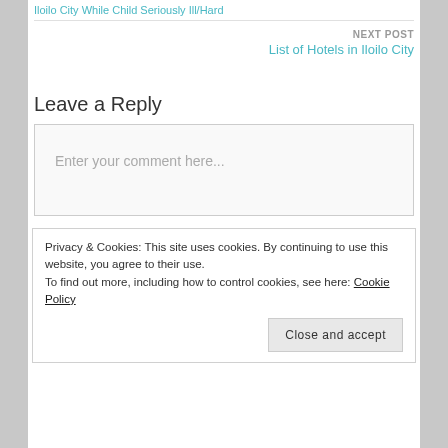Iloilo City While Child Seriously Ill/Hard
NEXT POST
List of Hotels in Iloilo City
Leave a Reply
Enter your comment here...
Privacy & Cookies: This site uses cookies. By continuing to use this website, you agree to their use.
To find out more, including how to control cookies, see here: Cookie Policy
Close and accept